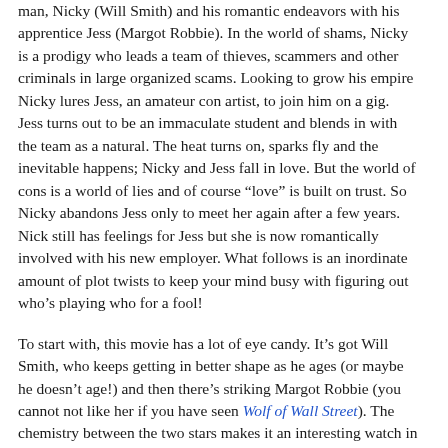man, Nicky (Will Smith) and his romantic endeavors with his apprentice Jess (Margot Robbie). In the world of shams, Nicky is a prodigy who leads a team of thieves, scammers and other criminals in large organized scams. Looking to grow his empire Nicky lures Jess, an amateur con artist, to join him on a gig. Jess turns out to be an immaculate student and blends in with the team as a natural. The heat turns on, sparks fly and the inevitable happens; Nicky and Jess fall in love. But the world of cons is a world of lies and of course “love” is built on trust. So Nicky abandons Jess only to meet her again after a few years. Nick still has feelings for Jess but she is now romantically involved with his new employer. What follows is an inordinate amount of plot twists to keep your mind busy with figuring out who’s playing who for a fool!
To start with, this movie has a lot of eye candy. It’s got Will Smith, who keeps getting in better shape as he ages (or maybe he doesn’t age!) and then there’s striking Margot Robbie (you cannot not like her if you have seen Wolf of Wall Street). The chemistry between the two stars makes it an interesting watch in itself and then there are tricks, parties, races and more. Even though it seems that this makes for a good reason to pull you to the big screen, the movie does need to